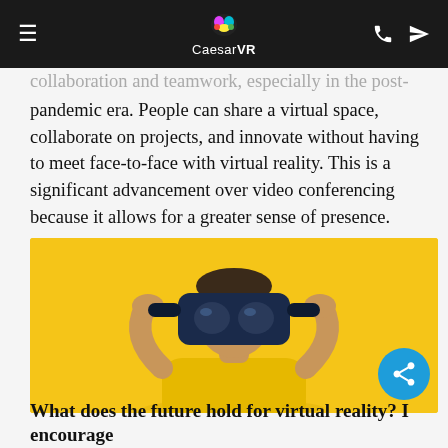CaesarVR
collaboration and teamwork, especially in the post-pandemic era. People can share a virtual space, collaborate on projects, and innovate without having to meet face-to-face with virtual reality. This is a significant advancement over video conferencing because it allows for a greater sense of presence.
[Figure (photo): Person wearing a VR headset against a yellow background, dressed in a yellow shirt]
What does the future hold for virtual reality? I encourage